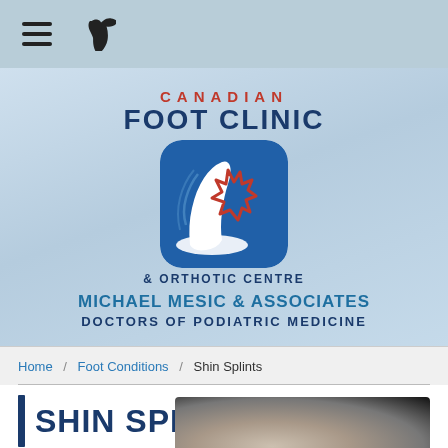Navigation bar with hamburger menu and phone icon
[Figure (logo): Canadian Foot Clinic & Orthotic Centre logo with blue rounded square icon showing a white foot/ankle and red maple leaf outline. Text: CANADIAN FOOT CLINIC & ORTHOTIC CENTRE | MICHAEL MESIC & ASSOCIATES | DOCTORS OF PODIATRIC MEDICINE]
Home / Foot Conditions / Shin Splints
SHIN SPLINTS
[Figure (photo): Close-up black and white photograph of a shin/lower leg]